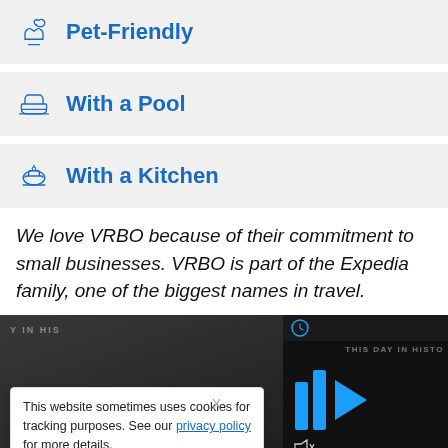Pet-Friendly
With a Pool
With a Kitchen
We love VRBO because of their commitment to small businesses. VRBO is part of the Expedia family, one of the biggest names in travel.
[Figure (screenshot): Screenshot showing video thumbnails with 'This Day in History' overlay, large blue number 6, and blue play/pause icons on dark backgrounds]
This website sometimes uses cookies for tracking purposes. See our privacy policy for more details.